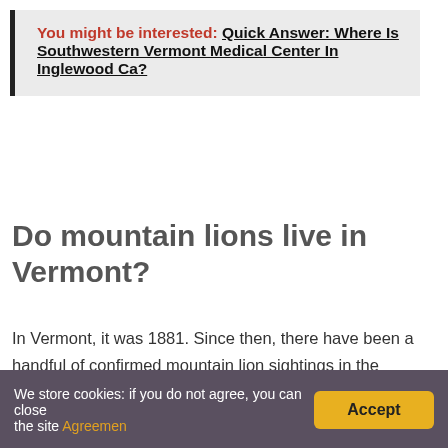You might be interested: Quick Answer: Where Is Southwestern Vermont Medical Center In Inglewood Ca?
Do mountain lions live in Vermont?
In Vermont, it was 1881. Since then, there have been a handful of confirmed mountain lion sightings in the Northeast, although most have been thought to be escaped captive animals. There are also many unconfirmed sightings. Research suggests the 58...
We store cookies: if you do not agree, you can close the site Agreemen